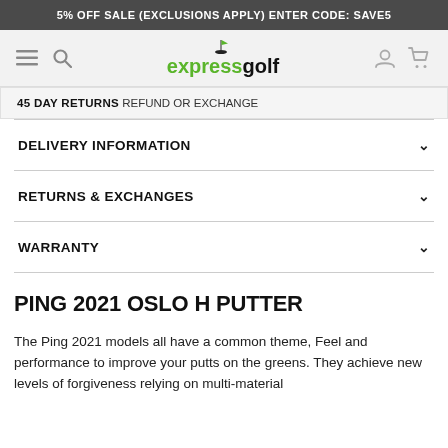5% OFF SALE (EXCLUSIONS APPLY) ENTER CODE: SAVE5
[Figure (logo): Express Golf logo with flag/golf ball icon, 'express' in green and 'golf' in dark text]
45 DAY RETURNS REFUND OR EXCHANGE
DELIVERY INFORMATION
RETURNS & EXCHANGES
WARRANTY
PING 2021 OSLO H PUTTER
The Ping 2021 models all have a common theme, Feel and performance to improve your putts on the greens. They achieve new levels of forgiveness relying on multi-material